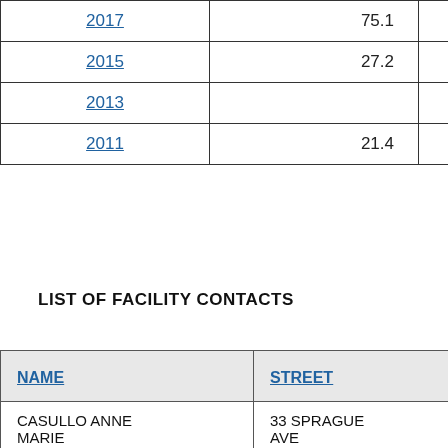| Year | Value |  |
| --- | --- | --- |
| 2017 | 75.1 |  |
| 2015 | 27.2 |  |
| 2013 |  |  |
| 2011 | 21.4 |  |
LIST OF FACILITY CONTACTS
| NAME | STREET |
| --- | --- |
| CASULLO ANNE MARIE | 33 SPRAGUE AVE |